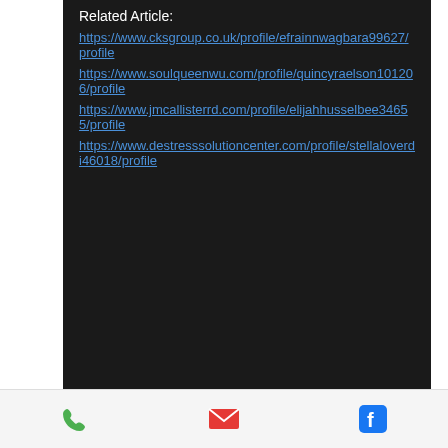Related Article:
https://www.cksgroup.co.uk/profile/efrainnwagbara99627/profile
https://www.soulqueenwu.com/profile/quincyraelson101206/profile
https://www.jmcallisterrd.com/profile/elijahhusselbee34655/profile
https://www.destresssolutioncenter.com/profile/stellaloverdi46018/profile
info@magicschoolhouse.org
[Figure (logo): Magic School House logo with geometric diamond/crystal shape and script lettering]
Phone | Email | Facebook icons